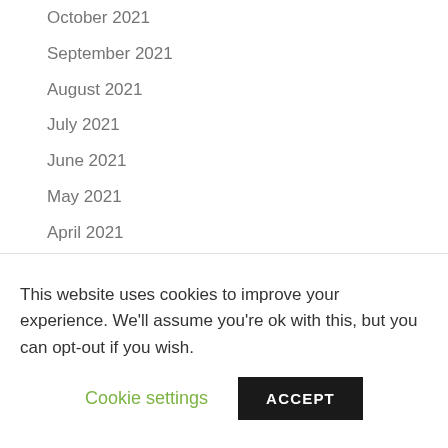October 2021
September 2021
August 2021
July 2021
June 2021
May 2021
April 2021
March 2021
February 2021
January 2021
December 2020
This website uses cookies to improve your experience. We'll assume you're ok with this, but you can opt-out if you wish.
Cookie settings  ACCEPT